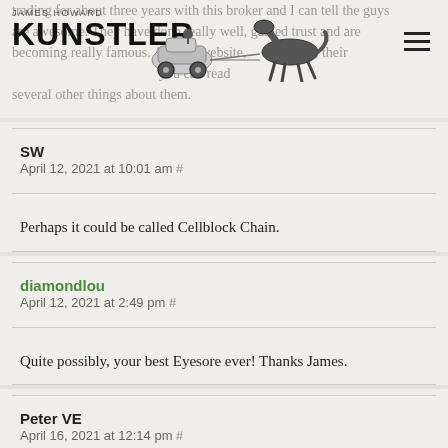JAMES HOWARD KUNSTLER
trading for about three years with this broker and I can tell the guys are awesome. They have done really well, gained trust and are becoming really famous. At their website, their services, you can read several other things about them.
SW
April 12, 2021 at 10:01 am #
Perhaps it could be called Cellblock Chain.
diamondlou
April 12, 2021 at 2:49 pm #
Quite possibly, your best Eyesore ever! Thanks James.
Peter VE
April 16, 2021 at 12:14 pm #
Looks like the architects copied from Paolo Soleri's Arcosanti